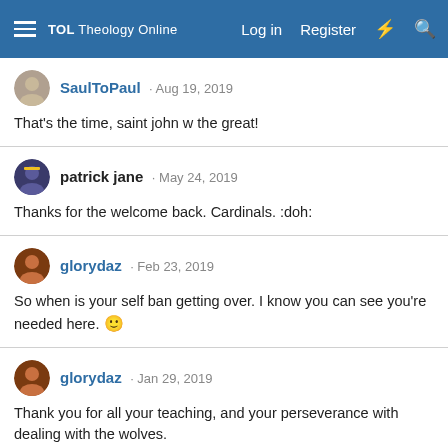TOL Theology Online — Log in  Register
SaulToPaul · Aug 19, 2019
That's the time, saint john w the great!
patrick jane · May 24, 2019
Thanks for the welcome back. Cardinals. :doh:
glorydaz · Feb 23, 2019
So when is your self ban getting over. I know you can see you're needed here. 🙂
glorydaz · Jan 29, 2019
Thank you for all your teaching, and your perseverance with dealing with the wolves.

I hate to think of them taking over here.